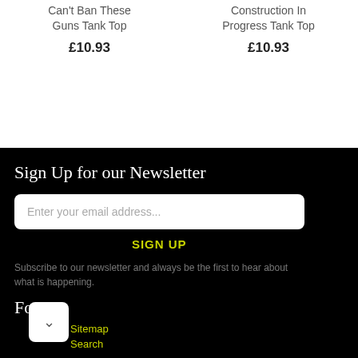Can't Ban These Guns Tank Top
£10.93
Construction In Progress Tank Top
£10.93
Sign Up for our Newsletter
Enter your email address...
SIGN UP
Subscribe to our newsletter and always be the first to hear about what is happening.
Footer
Sitemap
Search